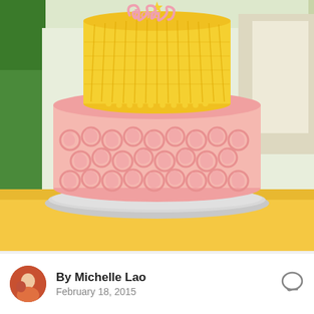[Figure (photo): A two-tier birthday cake on a yellow surface. The bottom tier is pink with rosette frosting swirls, and the top tier is bright yellow with ruffled frosting. A pink scripted name topper reads 'Lona' with a small star, placed on a silver cake board.]
By Michelle Lao
February 18, 2015